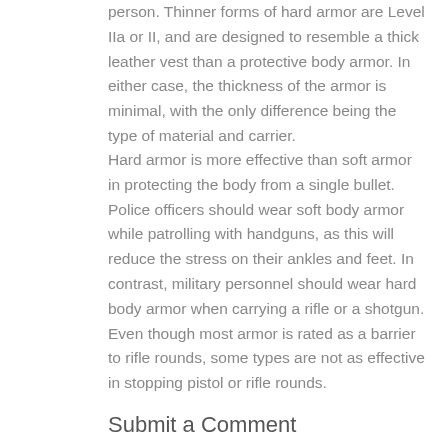person. Thinner forms of hard armor are Level IIa or II, and are designed to resemble a thick leather vest than a protective body armor. In either case, the thickness of the armor is minimal, with the only difference being the type of material and carrier.
Hard armor is more effective than soft armor in protecting the body from a single bullet. Police officers should wear soft body armor while patrolling with handguns, as this will reduce the stress on their ankles and feet. In contrast, military personnel should wear hard body armor when carrying a rifle or a shotgun. Even though most armor is rated as a barrier to rifle rounds, some types are not as effective in stopping pistol or rifle rounds.
Submit a Comment